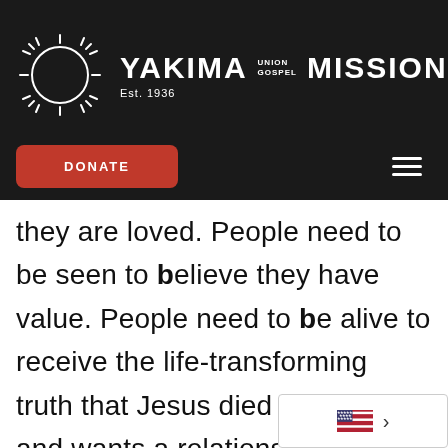[Figure (logo): Yakima Union Gospel Mission logo with sun/moon icon and text 'YAKIMA UNION GOSPEL MISSION Est. 1936' on dark background, with DONATE button and hamburger menu]
they are loved. People need to be seen to believe they have value. People need to be alive to receive the life-transforming truth that Jesus died for them and wants a relationship with them.